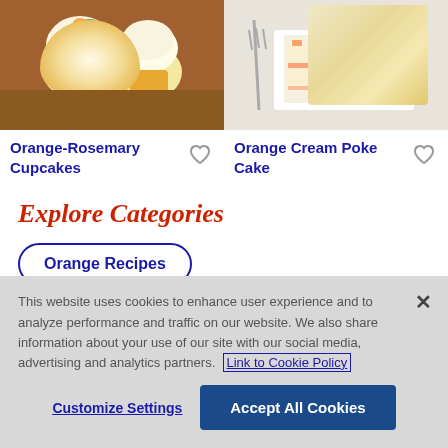[Figure (photo): Photo of Orange-Rosemary Cupcakes on a wooden board]
[Figure (photo): Photo of Orange Cream Poke Cake slice on a white plate]
Orange-Rosemary Cupcakes
Orange Cream Poke Cake
Explore Categories
Orange Recipes
This website uses cookies to enhance user experience and to analyze performance and traffic on our website. We also share information about your use of our site with our social media, advertising and analytics partners. Link to Cookie Policy
Customize Settings
Accept All Cookies